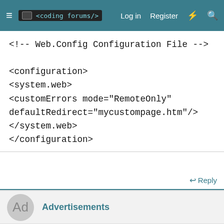≡  <coding forums/>   Log in   Register  ⚡  🔍
<!-- Web.Config Configuration File -->

<configuration>
<system.web>
<customErrors mode="RemoteOnly"
defaultRedirect="mycustompage.htm"/>
</system.web>
</configuration>
↩ Reply
Advertisements